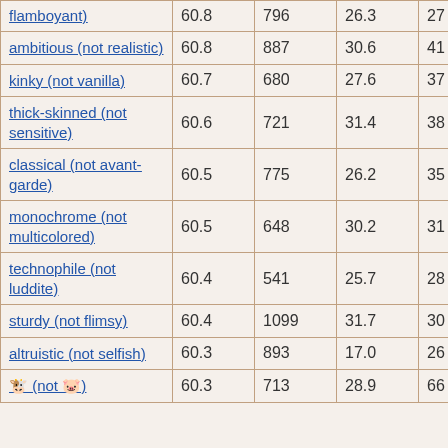| flamboyant) | 60.8 | 796 | 26.3 | 27 |
| ambitious (not realistic) | 60.8 | 887 | 30.6 | 41 |
| kinky (not vanilla) | 60.7 | 680 | 27.6 | 37 |
| thick-skinned (not sensitive) | 60.6 | 721 | 31.4 | 38 |
| classical (not avant-garde) | 60.5 | 775 | 26.2 | 35 |
| monochrome (not multicolored) | 60.5 | 648 | 30.2 | 31 |
| technophile (not luddite) | 60.4 | 541 | 25.7 | 28 |
| sturdy (not flimsy) | 60.4 | 1099 | 31.7 | 30 |
| altruistic (not selfish) | 60.3 | 893 | 17.0 | 26 |
| 🐮 (not 🐷) | 60.3 | 713 | 28.9 | 66 |